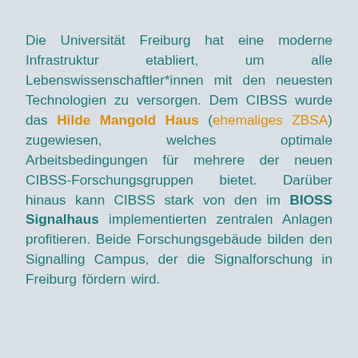Die Universität Freiburg hat eine moderne Infrastruktur etabliert, um alle Lebenswissenschaftler*innen mit den neuesten Technologien zu versorgen. Dem CIBSS wurde das Hilde Mangold Haus (ehemaliges ZBSA) zugewiesen, welches optimale Arbeitsbedingungen für mehrere der neuen CIBSS-Forschungsgruppen bietet. Darüber hinaus kann CIBSS stark von den im BIOSS Signalhaus implementierten zentralen Anlagen profitieren. Beide Forschungsgebäude bilden den Signalling Campus, der die Signalforschung in Freiburg fördern wird.